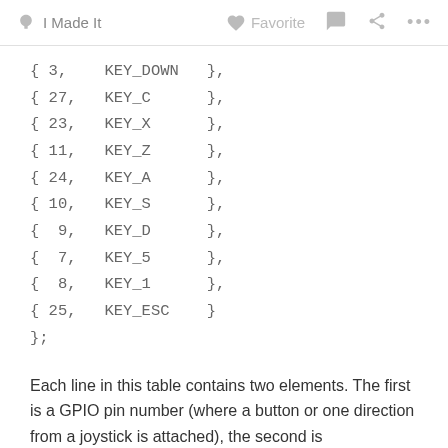I Made It   Favorite   ...
{ 3,   KEY_DOWN  },
{ 27,  KEY_C    },
{ 23,  KEY_X    },
{ 11,  KEY_Z    },
{ 24,  KEY_A    },
{ 10,  KEY_S    },
{  9,  KEY_D    },
{  7,  KEY_5    },
{  8,  KEY_1    },
{ 25,  KEY_ESC  }
};
Each line in this table contains two elements. The first is a GPIO pin number (where a button or one direction from a joystick is attached), the second is